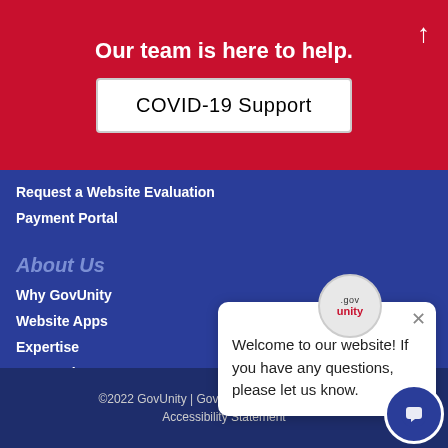Our team is here to help.
COVID-19 Support
Request a Website Evaluation
Payment Portal
About Us
Why GovUnity
Website Apps
Expertise
Our Work
Client Testimonials
[Figure (screenshot): GovUnity chat popup with logo and welcome message: Welcome to our website! If you have any questions, please let us know.]
©2022 GovUnity | Government Website Design
Accessibility Statement